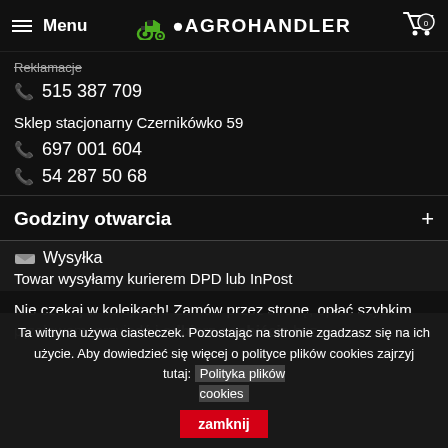Menu | AGROHANDLER
Reklamacje
515 387 709
Sklep stacjonarny Czernikówko 59
697 001 604
54 287 50 68
Godziny otwarcia
Wysyłka
Towar wysyłamy kurierem DPD lub InPost
Nie czekaj w kolejkach! Zamów przez stronę, opłać szybkim przelewem, przyjedź i odbierz osobiście bez
Ta witryna używa ciasteczek. Pozostając na stronie zgadzasz się na ich użycie. Aby dowiedzieć się więcej o polityce plików cookies zajrzyj tutaj: Polityka plików cookies